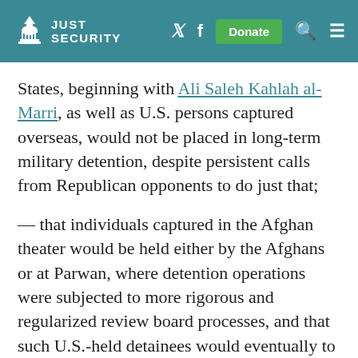JUST SECURITY
States, beginning with Ali Saleh Kahlah al-Marri, as well as U.S. persons captured overseas, would not be placed in long-term military detention, despite persistent calls from Republican opponents to do just that;
— that individuals captured in the Afghan theater would be held either by the Afghans or at Parwan, where detention operations were subjected to more rigorous and regularized review board processes, and that such U.S.-held detainees would eventually to be turned over the Afghan government (which they were—the